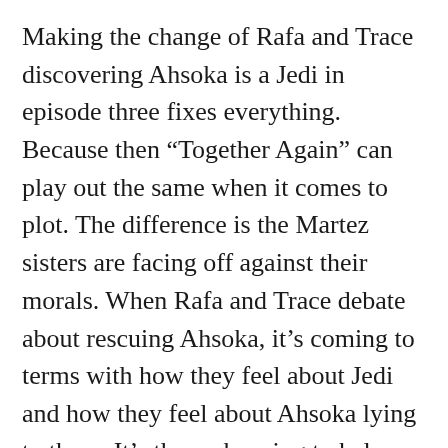Making the change of Rafa and Trace discovering Ahsoka is a Jedi in episode three fixes everything. Because then “Together Again” can play out the same when it comes to plot. The difference is the Martez sisters are facing off against their morals. When Rafa and Trace debate about rescuing Ahsoka, it’s coming to terms with how they feel about Jedi and how they feel about Ahsoka lying to them. It’s them choosing to help one person over judging Ahsoka by the people who raised her. Then that final line from Rafa about how Ahsoka is how the Jedi should be hits home so much harder. It